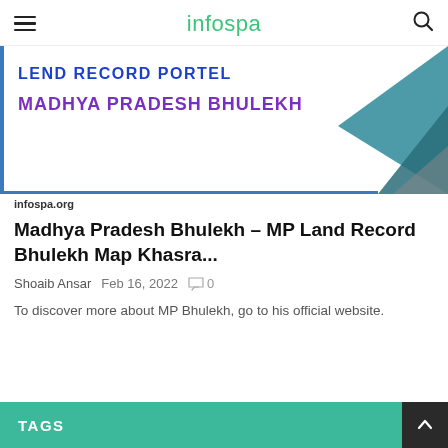infospa
[Figure (screenshot): Land Record Portal Madhya Pradesh Bhulekh banner image with blue border and teal triangle graphic. Text reads: LEND RECORD PORTEL / MADHYA PRADESH BHULEKH]
infospa.org
Madhya Pradesh Bhulekh – MP Land Record Bhulekh Map Khasra...
Shoaib Ansar  Feb 16, 2022  💬 0
To discover more about MP Bhulekh, go to his official website.
TAGS